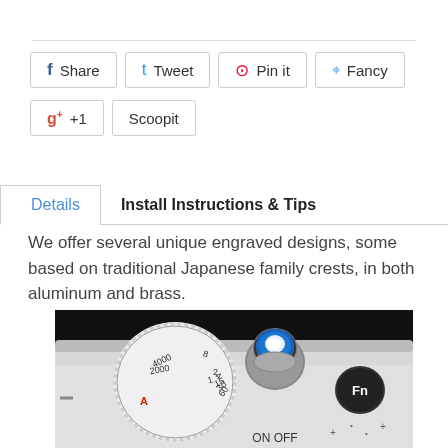Share | Tweet | Pin it | Fancy | +1 | Scoopit
Details | Install Instructions & Tips
We offer several unique engraved designs, some based on traditional Japanese family crests, in both aluminum and brass.
[Figure (photo): Close-up photo of a camera top showing a blue decorative shutter release button with a world map engraving, sitting on a silver camera body with dials and Fn button visible.]